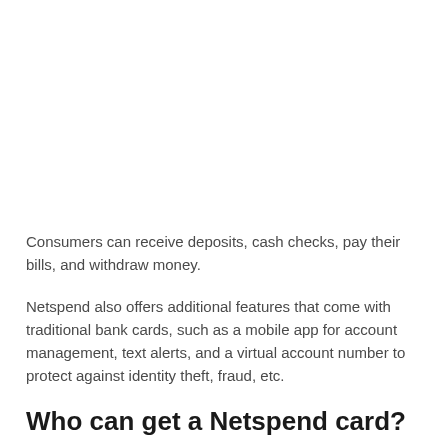Consumers can receive deposits, cash checks, pay their bills, and withdraw money.
Netspend also offers additional features that come with traditional bank cards, such as a mobile app for account management, text alerts, and a virtual account number to protect against identity theft, fraud, etc.
Who can get a Netspend card?
Since you can obtain a Netspend prepaid card without a bank